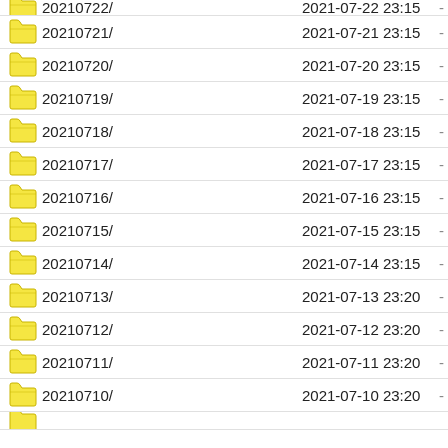20210722/  2021-07-22 23:15  -
20210721/  2021-07-21 23:15  -
20210720/  2021-07-20 23:15  -
20210719/  2021-07-19 23:15  -
20210718/  2021-07-18 23:15  -
20210717/  2021-07-17 23:15  -
20210716/  2021-07-16 23:15  -
20210715/  2021-07-15 23:15  -
20210714/  2021-07-14 23:15  -
20210713/  2021-07-13 23:20  -
20210712/  2021-07-12 23:20  -
20210711/  2021-07-11 23:20  -
20210710/  2021-07-10 23:20  -
20210709/ (partial)